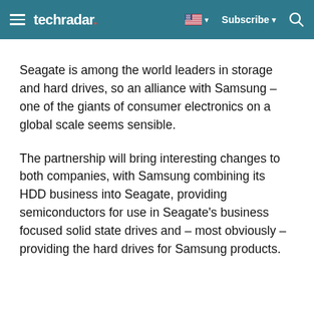techradar | Subscribe
Seagate is among the world leaders in storage and hard drives, so an alliance with Samsung – one of the giants of consumer electronics on a global scale seems sensible.
The partnership will bring interesting changes to both companies, with Samsung combining its HDD business into Seagate, providing semiconductors for use in Seagate's business focused solid state drives and – most obviously – providing the hard drives for Samsung products.